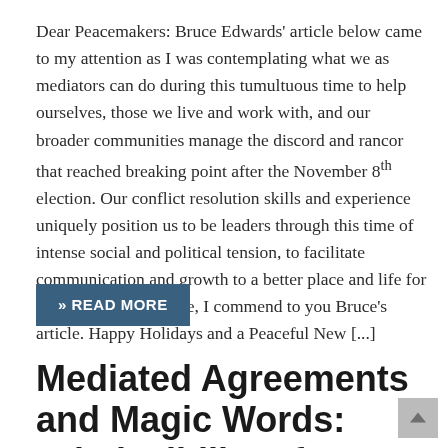Dear Peacemakers: Bruce Edwards' article below came to my attention as I was contemplating what we as mediators can do during this tumultuous time to help ourselves, those we live and work with, and our broader communities manage the discord and rancor that reached breaking point after the November 8th election. Our conflict resolution skills and experience uniquely position us to be leaders through this time of intense social and political tension, to facilitate communication and growth to a better place and life for everyone. On this note, I commend to you Bruce's article. Happy Holidays and a Peaceful New [...]
>> READ MORE
Mediated Agreements and Magic Words: Admissibility of